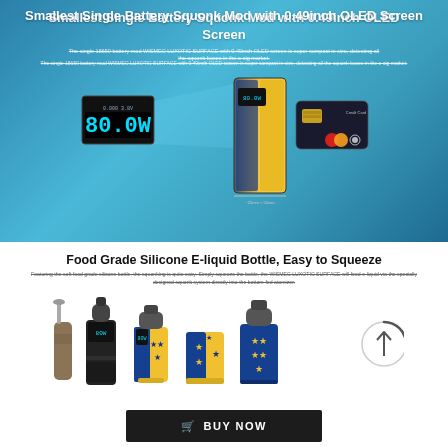[Figure (photo): Product hero image with blue gradient background showing the WISMEC LUXOTIC SURFACE single battery squonk mod next to a credit card for size comparison, with an OLED screen display callout showing 80.0W]
Smallest Single Battery Squonk Mod with 0.49inch OLED Screen
The single 18650 battery mod WISMEC LUXOTIC SURFACE with 0.49inch OLED screen is super compact in size, detecting all the squonk boxes in the e-cig market.
Food Grade Silicone E-liquid Bottle, Easy to Squeeze
Featuring the soft food grade silicone bottle, the squonking is quite easy. Simply squeeze the bottle, the WISMEC LUXOTIC SURFACE will feed e-liquid via the specially designed squonk system directly into the bottom-fed atomizer.
[Figure (photo): Multiple WISMEC LUXOTIC SURFACE vape mod kits shown in different colors and patterns including black, blue/yellow star pattern, and with atomizers attached]
BUY NOW